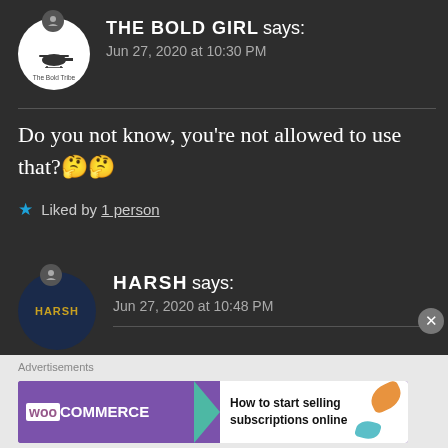THE BOLD GIRL says:
Jun 27, 2020 at 10:30 PM
Do you not know, you're not allowed to use that?🤔🤔
★ Liked by 1 person
HARSH says:
Jun 27, 2020 at 10:48 PM
I already told you. Show me the person. Until then, I am…
Advertisements
[Figure (screenshot): WooCommerce advertisement banner: 'How to start selling subscriptions online']